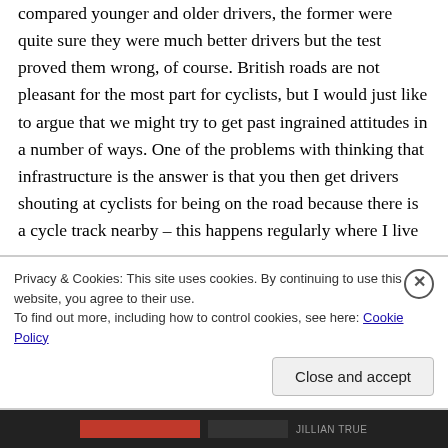compared younger and older drivers, the former were quite sure they were much better drivers but the test proved them wrong, of course. British roads are not pleasant for the most part for cyclists, but I would just like to argue that we might try to get past ingrained attitudes in a number of ways. One of the problems with thinking that infrastructure is the answer is that you then get drivers shouting at cyclists for being on the road because there is a cycle track nearby – this happens regularly where I live now.
Privacy & Cookies: This site uses cookies. By continuing to use this website, you agree to their use.
To find out more, including how to control cookies, see here: Cookie Policy
Close and accept